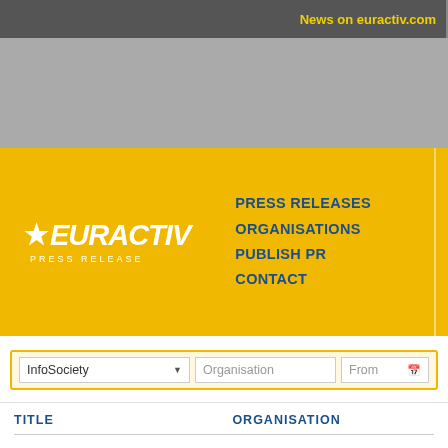News on euractiv.com
[Figure (logo): EURACTIV PRESS RELEASE logo - white star and italic bold text on yellow background]
PRESS RELEASES
ORGANISATIONS
PUBLISH PR
CONTACT
Climate
Environ
Innova
Enterprise
Health
Energy
InfoSociety | Organisation | From
| TITLE | ORGANISATION |
| --- | --- |
| Jahresbericht Türkei: Tadel ohne Folgen | DIE LINKE. im Europaparlament |